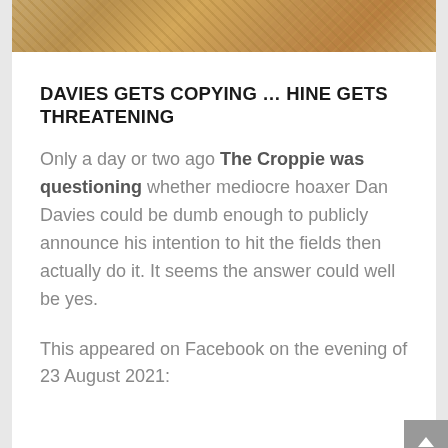[Figure (photo): Top banner image showing a close-up of wheat or grain stalks in golden/brown tones]
DAVIES GETS COPYING … HINE GETS THREATENING
Only a day or two ago The Croppie was questioning whether mediocre hoaxer Dan Davies could be dumb enough to publicly announce his intention to hit the fields then actually do it. It seems the answer could well be yes.
This appeared on Facebook on the evening of 23 August 2021: